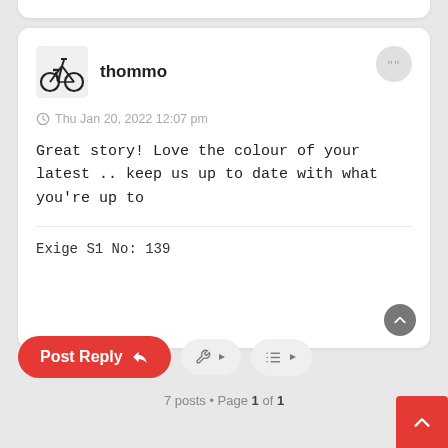thommo
Thu Jan 20, 2022 12:07 pm
Great story! Love the colour of your latest .. keep us up to date with what you're up to
Exige S1 No: 139
Post Reply
7 posts • Page 1 of 1